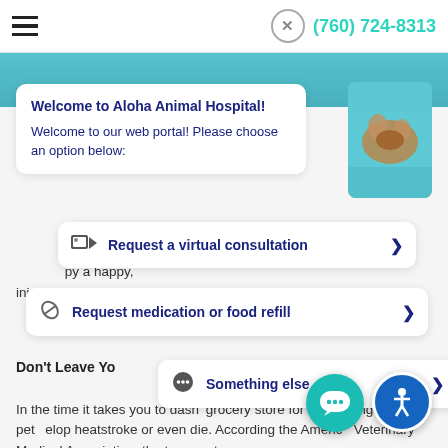(760) 724-8313
[Figure (photo): Dog swimming in blue water, viewed from above]
Welcome to Aloha Animal Hospital!
Welcome to our web portal! Please choose an option below:
Request a virtual consultation >
Request medication or food refill >
o increase ist of dos py a happy, injury-free summer.
Something else >
Don't Leave Yo
In the time it takes you to dash grocery store for a few things, your pet develop heatstroke or even die. According the American Veterinary Medical Association, the temperature